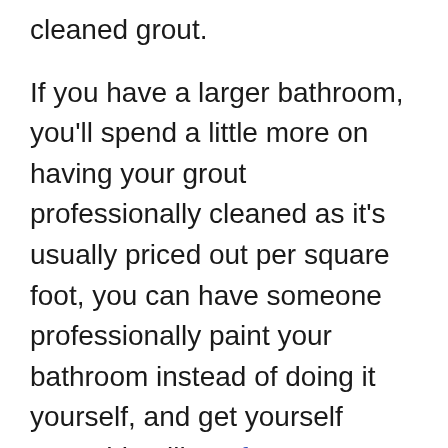cleaned grout.
If you have a larger bathroom, you'll spend a little more on having your grout professionally cleaned as it's usually priced out per square foot, you can have someone professionally paint your bathroom instead of doing it yourself, and get yourself something like a fancy monogrammed shower curtain.
These may seem like small things,